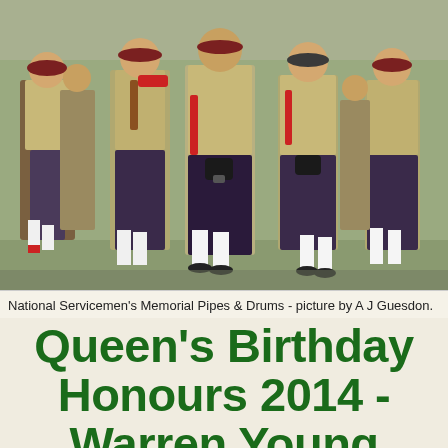[Figure (photo): A group of men in military-style kilts and uniforms marching and playing bagpipes. They wear tartan kilts, white knee socks, khaki jackets, and black sporrans. Some have red accents on their socks. The band is identified as the National Servicemen's Memorial Pipes & Drums.]
National Servicemen's Memorial Pipes & Drums - picture by A J Guesdon.
Queen's Birthday Honours 2014 - Warren Young OAM - Avalon Beach SLSC Life